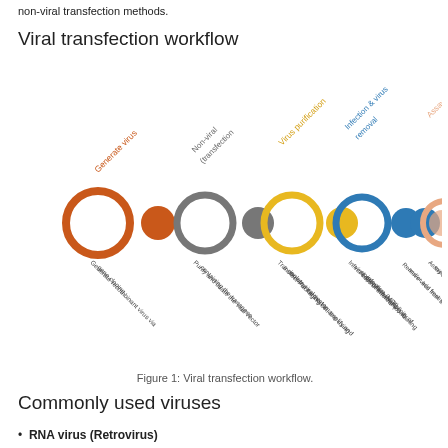non-viral transfection methods.
Viral transfection workflow
[Figure (flowchart): Viral transfection workflow diagram showing circles (large hollow and small filled) in four color groups: orange (Generate virus), gray (Non-viral transfection), yellow (Virus purification), blue (Infection & virus removal), and peach (Assay out). Each circle pair has a diagonal label above and a diagonal description below.]
Figure 1: Viral transfection workflow.
Commonly used viruses
RNA virus (Retrovirus)